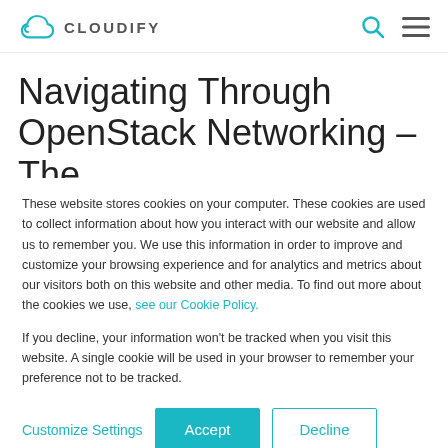CLOUDIFY
Navigating Through OpenStack Networking – The
These website stores cookies on your computer. These cookies are used to collect information about how you interact with our website and allow us to remember you. We use this information in order to improve and customize your browsing experience and for analytics and metrics about our visitors both on this website and other media. To find out more about the cookies we use, see our Cookie Policy.
If you decline, your information won't be tracked when you visit this website. A single cookie will be used in your browser to remember your preference not to be tracked.
Customize Settings  Accept  Decline